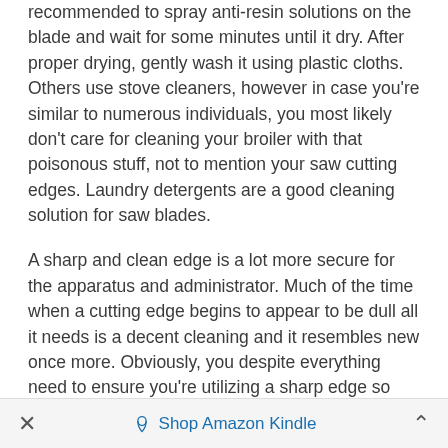recommended to spray anti-resin solutions on the blade and wait for some minutes until it dry. After proper drying, gently wash it using plastic cloths. Others use stove cleaners, however in case you're similar to numerous individuals, you most likely don't care for cleaning your broiler with that poisonous stuff, not to mention your saw cutting edges. Laundry detergents are a good cleaning solution for saw blades.
A sharp and clean edge is a lot more secure for the apparatus and administrator. Much of the time when a cutting edge begins to appear to be dull all it needs is a decent cleaning and it resembles new once more. Obviously, you despite everything need to ensure you're utilizing a sharp edge so you don't harm your device or yourself.
× Shop Amazon Kindle ∧